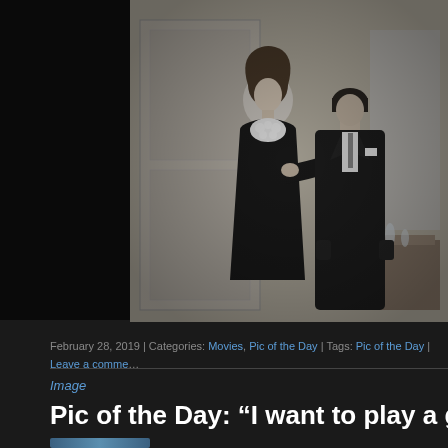[Figure (photo): Black and white film still showing a woman in a black dress with white floral detail and a man in a dark suit standing together in what appears to be an interior setting]
February 28, 2019 | Categories: Movies, Pic of the Day | Tags: Pic of the Day | Leave a comment
Image
Pic of the Day: “I want to play a game.” (15t…